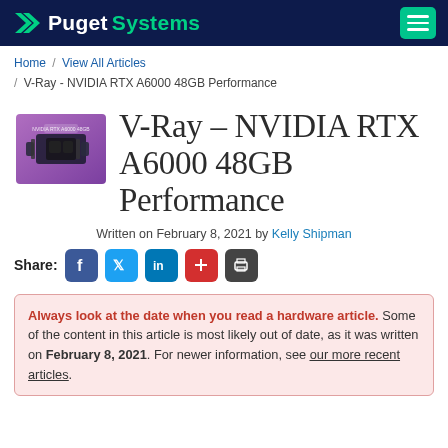Puget Systems
Home / View All Articles / V-Ray - NVIDIA RTX A6000 48GB Performance
V-Ray – NVIDIA RTX A6000 48GB Performance
Written on February 8, 2021 by Kelly Shipman
Share:
Always look at the date when you read a hardware article. Some of the content in this article is most likely out of date, as it was written on February 8, 2021. For newer information, see our more recent articles.